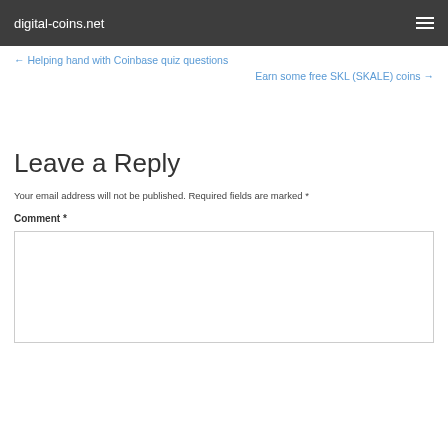digital-coins.net
← Helping hand with Coinbase quiz questions
Earn some free SKL (SKALE) coins →
Leave a Reply
Your email address will not be published. Required fields are marked *
Comment *